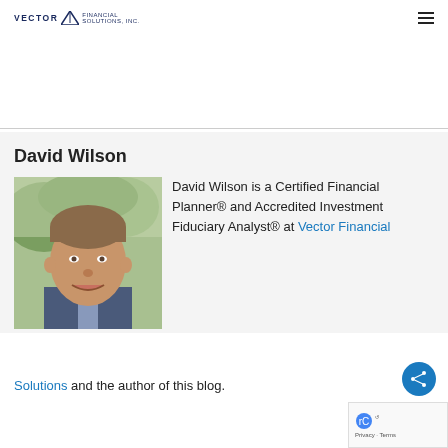VECTOR FINANCIAL SOLUTIONS, INC.
David Wilson
[Figure (photo): Headshot photo of David Wilson, a middle-aged man in a dark suit and light blue tie, smiling outdoors with green foliage in background]
David Wilson is a Certified Financial Planner® and Accredited Investment Fiduciary Analyst® at Vector Financial Solutions and the author of this blog.